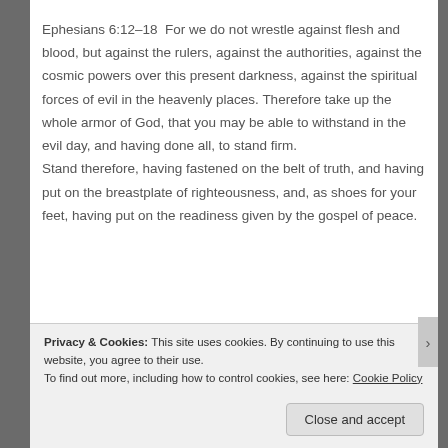Ephesians 6:12–18  For we do not wrestle against flesh and blood, but against the rulers, against the authorities, against the cosmic powers over this present darkness, against the spiritual forces of evil in the heavenly places. Therefore take up the whole armor of God, that you may be able to withstand in the evil day, and having done all, to stand firm. Stand therefore, having fastened on the belt of truth, and having put on the breastplate of righteousness, and, as shoes for your feet, having put on the readiness given by the gospel of peace.
Privacy & Cookies: This site uses cookies. By continuing to use this website, you agree to their use. To find out more, including how to control cookies, see here: Cookie Policy